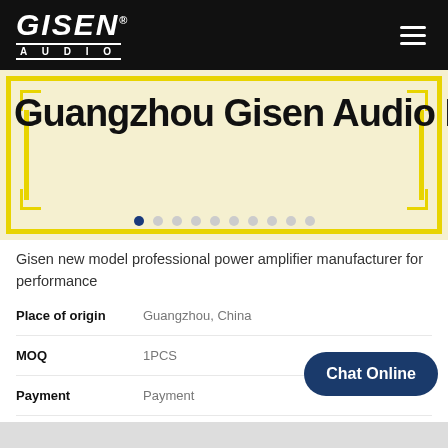[Figure (logo): Gisen Audio logo — white italic bold GISEN with registered trademark, white AUDIO text below with border lines, on black nav bar background]
[Figure (screenshot): Website slider/banner showing 'Guangzhou Gisen Audio Equi...' text in large font with yellow decorative border frame and carousel dot indicators on light yellow background]
Gisen new model professional power amplifier manufacturer for performance
| Field | Value |
| --- | --- |
| Place of origin | Guangzhou, China |
| MOQ | 1PCS |
| Payment | Payment |
| Delivery time | depends on quantity, usually 3 day... |
| Payment terms | 30% deposit, 70% balance before shipping |